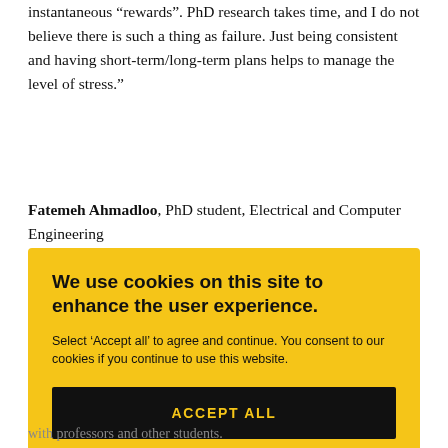instantaneous “rewards”. PhD research takes time, and I do not believe there is such a thing as failure. Just being consistent and having short-term/long-term plans helps to manage the level of stress.”
Fatemeh Ahmadloo, PhD student, Electrical and Computer Engineering
We use cookies on this site to enhance the user experience.
Select ‘Accept all’ to agree and continue. You consent to our cookies if you continue to use this website.
ACCEPT ALL
with professors and other students.